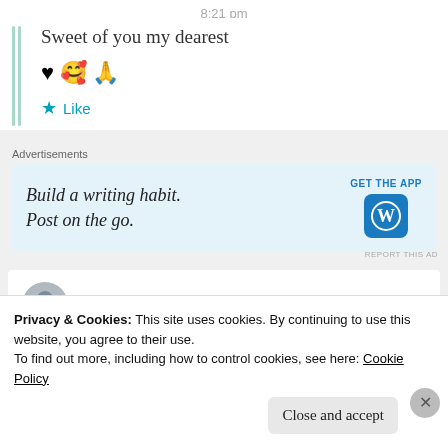8:21 pm
Sweet of you my dearest
♥ 🥰 🙏
Like
Advertisements
[Figure (screenshot): WordPress app advertisement banner: 'Build a writing habit. Post on the go.' with GET THE APP button and WordPress logo]
REPORT THIS AD
skvlinerise
Privacy & Cookies: This site uses cookies. By continuing to use this website, you agree to their use. To find out more, including how to control cookies, see here: Cookie Policy
Close and accept